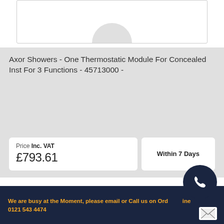[Figure (photo): Product image of a thermostatic module, partially visible at top, inside a bordered white box]
Axor Showers - One Thermostatic Module For Concealed Inst For 3 Functions - 45713000 -
Price Inc. VAT
£793.61
Within 7 Days
We are busy at the Moment, please email or Call us on Our... ...ne 0121 543 4474